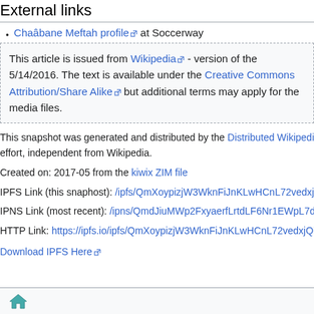External links
Chaâbane Meftah profile at Soccerway
This article is issued from Wikipedia - version of the 5/14/2016. The text is available under the Creative Commons Attribution/Share Alike but additional terms may apply for the media files.
This snapshot was generated and distributed by the Distributed Wikipedia Mirror effort, independent from Wikipedia.
Created on: 2017-05 from the kiwix ZIM file
IPFS Link (this snaphost): /ipfs/QmXoypizjW3WknFiJnKLwHCnL72vedxjQkD
IPNS Link (most recent): /ipns/QmdJiuMWp2FxyaerfLrtdLF6Nr1EWpL7dPAx
HTTP Link: https://ipfs.io/ipfs/QmXoypizjW3WknFiJnKLwHCnL72vedxjQkD
Download IPFS Here